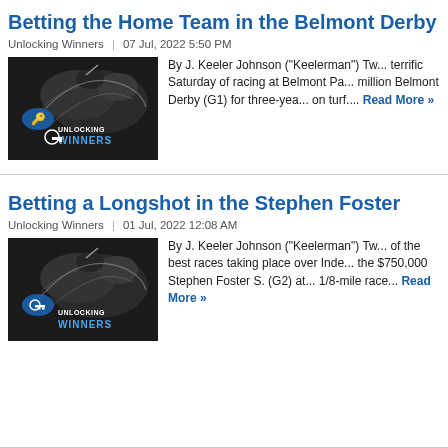Betting the Home Team in the Belmont Derby
Unlocking Winners | 07 Jul, 2022 5:50 PM
[Figure (photo): Unlocking Winners logo with horse racing imagery in black and white with blue text]
By J. Keeler Johnson ("Keelerman") Tw... terrific Saturday of racing at Belmont Pa... million Belmont Derby (G1) for three-yea... on turf.... Read More »
Betting a Longshot in the Stephen Foster
Unlocking Winners | 01 Jul, 2022 12:08 AM
[Figure (photo): Unlocking Winners logo with horse racing imagery in black and white with blue text]
By J. Keeler Johnson ("Keelerman") Tw... of the best races taking place over Inde... the $750,000 Stephen Foster S. (G2) at... 1/8-mile race... Read More »